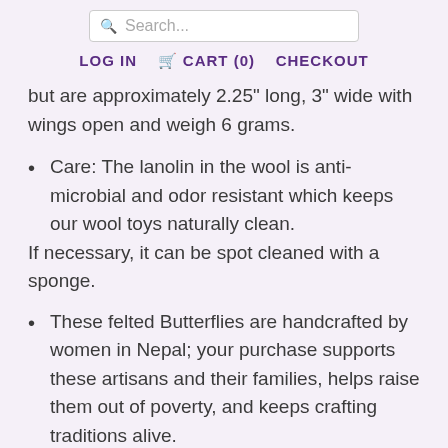Search...
LOG IN   CART (0)   CHECKOUT
but are approximately 2.25" long, 3" wide with wings open and weigh 6 grams.
Care: The lanolin in the wool is anti-microbial and odor resistant which keeps our wool toys naturally clean.  If necessary, it can be spot cleaned with a sponge.
These felted Butterflies are handcrafted by women in Nepal; your purchase supports these artisans and their families, helps raise them out of poverty, and keeps crafting traditions alive.